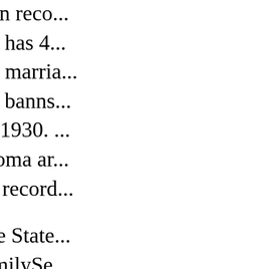collection of civil registration reco... This massive new collection has 4... of official government birth, marria... also contains some marriage banns... span the years from 1863 to 1930... sorted by province (Rieti, Roma ar... frazione and then by type of record...
These records come from the State... will be happy to see that FamilySe... Access is free. [Historic Rome Birt...
Belgium – FamilySearch.org has r... civil registration records. The large... records) comes from Liège. The Li... birth, marriage and death records. ... proclamation records in the collect... 1914. The records can be searched... is free. [Historic Liège Birth Recor...
Australia – FamilySearch.org has...